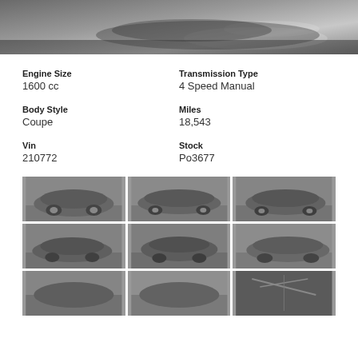[Figure (photo): Top cropped photo of a classic Porsche 356 car, black and white/grayscale, showing the rear portion of the vehicle with reflections on a smooth floor surface.]
Engine Size
1600 cc
Transmission Type
4 Speed Manual
Body Style
Coupe
Miles
18,543
Vin
210772
Stock
Po3677
[Figure (photo): Thumbnail photo of classic Porsche 356 coupe, 3/4 front view, grayscale.]
[Figure (photo): Thumbnail photo of classic Porsche 356 coupe, side profile view, grayscale.]
[Figure (photo): Thumbnail photo of classic Porsche 356 coupe, rear 3/4 view, grayscale.]
[Figure (photo): Thumbnail photo of classic Porsche 356 coupe, front 3/4 view, grayscale.]
[Figure (photo): Thumbnail photo of classic Porsche 356 coupe, rear 3/4 overhead view, grayscale.]
[Figure (photo): Thumbnail photo of classic Porsche 356 coupe, side profile view with front angle, grayscale.]
[Figure (photo): Thumbnail photo of classic Porsche 356 coupe, partially visible, cropped at bottom.]
[Figure (photo): Thumbnail photo of classic Porsche 356 coupe, partially visible, cropped at bottom.]
[Figure (photo): Thumbnail photo showing interior or detail of classic Porsche 356, partially visible, cropped at bottom.]